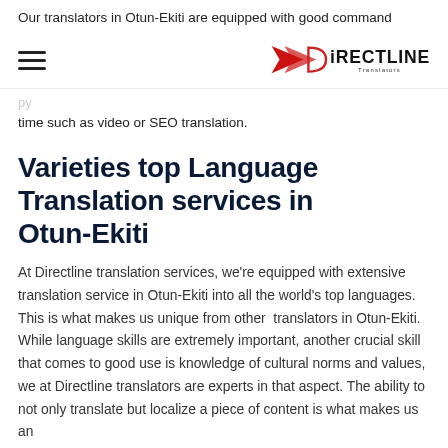Our translators in Otun-Ekiti are equipped with good command
[Figure (logo): Directline Translators logo with red arrow/chevron shape and DIRECTLINE text in black with Translators subtitle]
time such as video or SEO translation.
Varieties top Language Translation services in Otun-Ekiti
At Directline translation services, we're equipped with extensive translation service in Otun-Ekiti into all the world's top languages. This is what makes us unique from other translators in Otun-Ekiti. While language skills are extremely important, another crucial skill that comes to good use is knowledge of cultural norms and values, we at Directline translators are experts in that aspect. The ability to not only translate but localize a piece of content is what makes us an